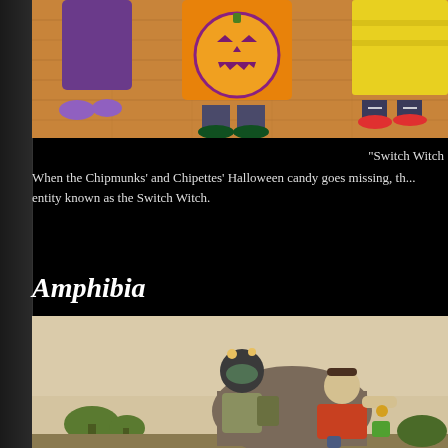[Figure (illustration): Halloween scene showing children in costumes standing on a wooden floor. One child wears an orange shirt with a jack-o-lantern face design.]
"Switch Witch
When the Chipmunks' and Chipettes' Halloween candy goes missing, th... entity known as the Switch Witch.
Amphibia
[Figure (illustration): Animated scene from Amphibia showing cartoon characters in an outdoor setting with a beige/tan sky background and small trees visible in the distance.]